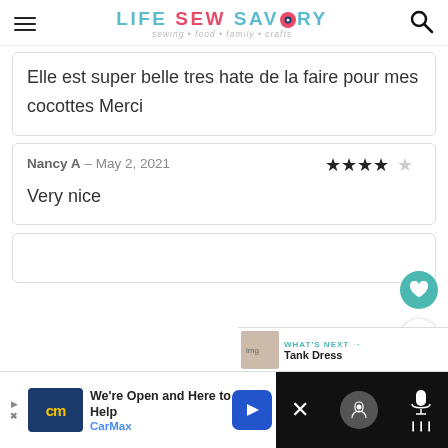LIFE SEW SAVORY — sewing • food • family • crafts
Elle est super belle tres hate de la faire pour mes cocottes Merci
Nancy A – May 2, 2021 ★★★★☆ Very nice
[Figure (screenshot): Partially visible third comment box at bottom]
[Figure (screenshot): Advertisement bar: CarMax - We're Open and Here to Help]
[Figure (screenshot): What's next navigation: Tank Dress]
[Figure (screenshot): Floating like (heart) and share buttons on right side]